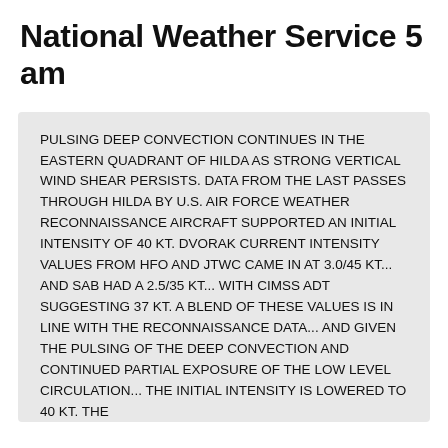National Weather Service 5 am
PULSING DEEP CONVECTION CONTINUES IN THE EASTERN QUADRANT OF HILDA AS STRONG VERTICAL WIND SHEAR PERSISTS. DATA FROM THE LAST PASSES THROUGH HILDA BY U.S. AIR FORCE WEATHER RECONNAISSANCE AIRCRAFT SUPPORTED AN INITIAL INTENSITY OF 40 KT. DVORAK CURRENT INTENSITY VALUES FROM HFO AND JTWC CAME IN AT 3.0/45 KT... AND SAB HAD A 2.5/35 KT... WITH CIMSS ADT SUGGESTING 37 KT. A BLEND OF THESE VALUES IS IN LINE WITH THE RECONNAISSANCE DATA... AND GIVEN THE PULSING OF THE DEEP CONVECTION AND CONTINUED PARTIAL EXPOSURE OF THE LOW LEVEL CIRCULATION... THE INITIAL INTENSITY IS LOWERED TO 40 KT. THE RECONNAISSANCE DATA STATES LEAST ALSO